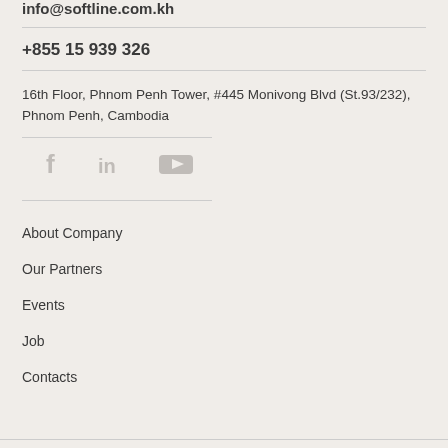info@softline.com.kh
+855 15 939 326
16th Floor, Phnom Penh Tower, #445 Monivong Blvd (St.93/232), Phnom Penh, Cambodia
[Figure (other): Social media icons: Facebook, LinkedIn, YouTube]
About Company
Our Partners
Events
Job
Contacts